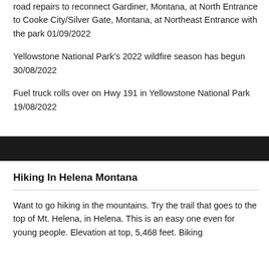road repairs to reconnect Gardiner, Montana, at North Entrance to Cooke City/Silver Gate, Montana, at Northeast Entrance with the park 01/09/2022
Yellowstone National Park’s 2022 wildfire season has begun 30/08/2022
Fuel truck rolls over on Hwy 191 in Yellowstone National Park 19/08/2022
Hiking In Helena Montana
Want to go hiking in the mountains. Try the trail that goes to the top of Mt. Helena, in Helena. This is an easy one even for young people. Elevation at top, 5,468 feet. Biking